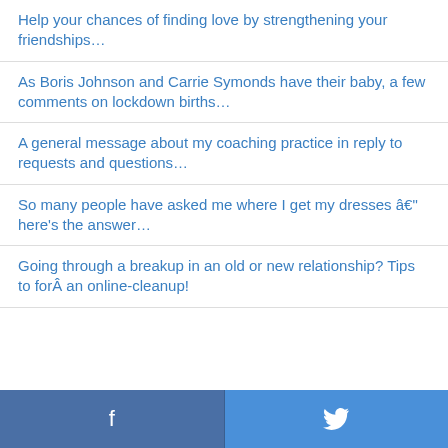Help your chances of finding love by strengthening your friendships…
As Boris Johnson and Carrie Symonds have their baby, a few comments on lockdown births…
A general message about my coaching practice in reply to requests and questions…
So many people have asked me where I get my dresses â€" here's the answer…
Going through a breakup in an old or new relationship? Tips to forÂ an online-cleanup!